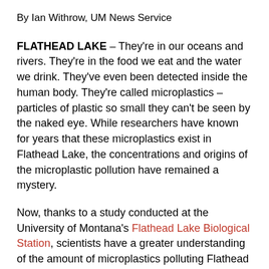By Ian Withrow, UM News Service
FLATHEAD LAKE – They're in our oceans and rivers. They're in the food we eat and the water we drink. They've even been detected inside the human body. They're called microplastics – particles of plastic so small they can't be seen by the naked eye. While researchers have known for years that these microplastics exist in Flathead Lake, the concentrations and origins of the microplastic pollution have remained a mystery.
Now, thanks to a study conducted at the University of Montana's Flathead Lake Biological Station, scientists have a greater understanding of the amount of microplastics polluting Flathead Lake, the likely sources of these microplastics and what can be done to prevent more from finding their way into the lake's world-renowned pristine water.